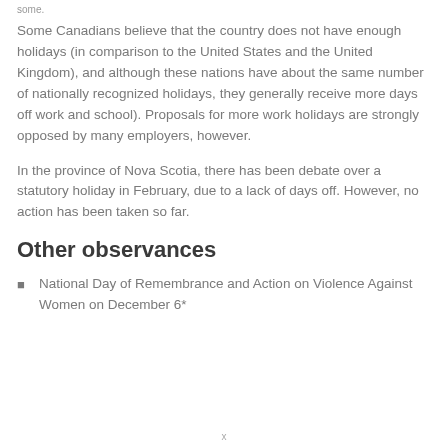some.
Some Canadians believe that the country does not have enough holidays (in comparison to the United States and the United Kingdom), and although these nations have about the same number of nationally recognized holidays, they generally receive more days off work and school). Proposals for more work holidays are strongly opposed by many employers, however.
In the province of Nova Scotia, there has been debate over a statutory holiday in February, due to a lack of days off. However, no action has been taken so far.
Other observances
National Day of Remembrance and Action on Violence Against Women on December 6*